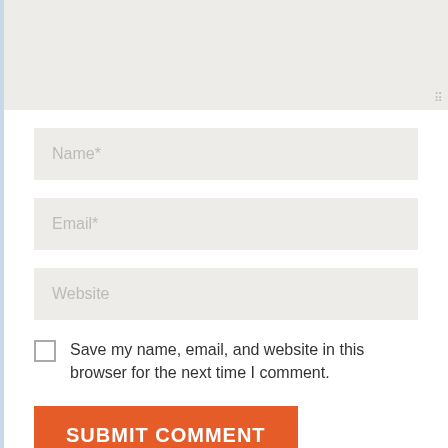[Figure (screenshot): Comment form textarea (large empty input box with resize handle at bottom right)]
Name*
Email*
Website
Save my name, email, and website in this browser for the next time I comment.
SUBMIT COMMENT